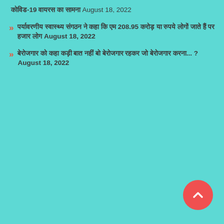कोविड-19 वायरस का सामना August 18, 2022
पर्यावरणीय स्वास्थ्य संगठन ने कहा कि एम 208.95 करोड़ या रुपये लोगों जाते हैं पर हजार लोग August 18, 2022
बेरोजगार को कहा कड़ी बात नहीं बो बेरोजगार रहकर जो बेरोजगार करना... ? August 18, 2022